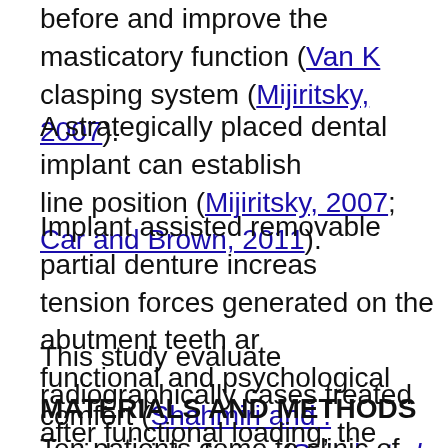before and improve the masticatory function (Van K clasping system (Mijiritsky, 2007).
A strategically placed dental implant can establish line position (Mijiritsky, 2007; Car and Brown, 2011).
Implant assisted removable partial denture increas tension forces generated on the abutment teeth ar functional and psychological comfort (Shahmiri and . social point of view (Spitzl et al., 2012).
This study evaluate radiographically cases treated after functional loading, the clinical and radiograph
MATERIALS AND METHODS
Ten patients come to clinic of removable prosthodc